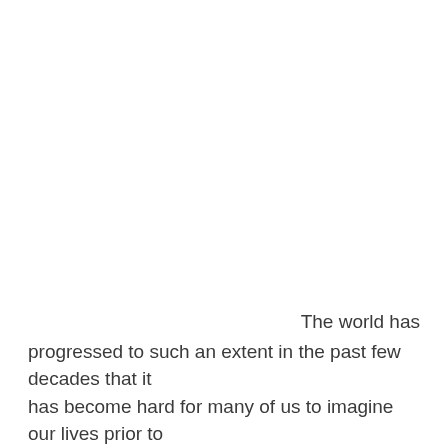The world has progressed to such an extent in the past few decades that it has become hard for many of us to imagine our lives prior to